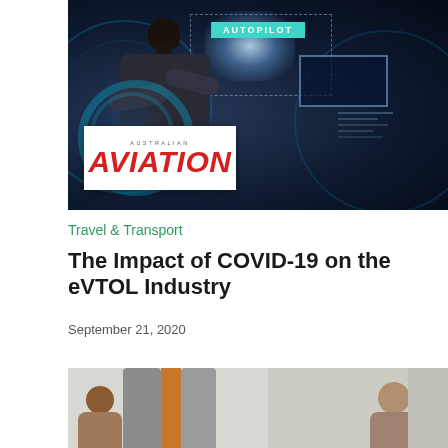PUBLISHED ARTICLES
[Figure (photo): Car interior with futuristic autopilot display and person driving, with Australian Aviation magazine logo overlay]
Travel & Transport
The Impact of COVID-19 on the eVTOL Industry
September 21, 2020
EXECUTIVE INSIGHTS
[Figure (photo): Two people having a conversation in a modern office with pod-style seating partitions]